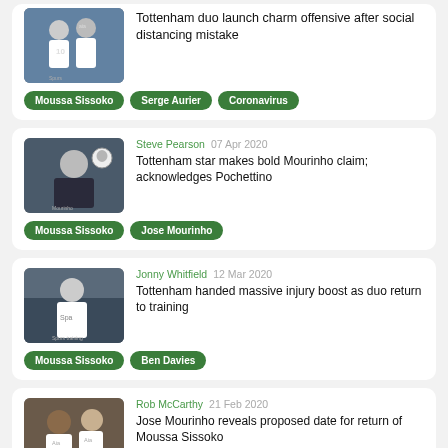[Figure (photo): Two Tottenham players in white Aia kits, one wearing number 10]
Tottenham duo launch charm offensive after social distancing mistake
Moussa Sissoko
Serge Aurier
Coronavirus
[Figure (photo): Mourinho holding a football in dark jacket]
Steve Pearson  07 Apr 2020
Tottenham star makes bold Mourinho claim; acknowledges Pochettino
Moussa Sissoko
Jose Mourinho
[Figure (photo): Tottenham player in white Spurs kit on pitch]
Jonny Whitfield  12 Mar 2020
Tottenham handed massive injury boost as duo return to training
Moussa Sissoko
Ben Davies
[Figure (photo): Moussa Sissoko and Harry Kane in Tottenham white kits]
Rob McCarthy  21 Feb 2020
Jose Mourinho reveals proposed date for return of Moussa Sissoko
Moussa Sissoko